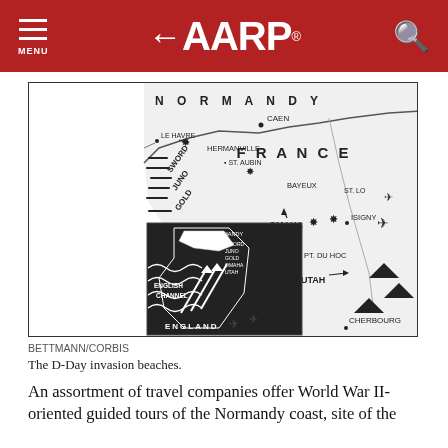AARP
[Figure (map): Black and white map of the D-Day invasion beaches in Normandy, France, showing beach code names: Sword, Juno, Gold, Omaha, Utah. Inset map shows France with English Channel and England. Locations labeled include Le Havre, Caen, Hermanville, St. Aubin, Bayeux, St. Lo, Isigny, Pt. Du Hoc, Cherbourg. Battle explosion symbols shown at each beach.]
BETTMANN/CORBIS
The D-Day invasion beaches.
An assortment of travel companies offer World War II-oriented guided tours of the Normandy coast, site of the